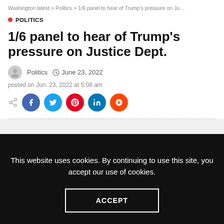Washington latest > Politics > 1/6 panel to hear of Trump's pressure on Ju…
POLITICS
1/6 panel to hear of Trump's pressure on Justice Dept.
Politics   June 23, 2022
posted on Jun. 23, 2022 at 5:08 am
This website uses cookies. By continuing to use this site, you accept our use of cookies.
ACCEPT